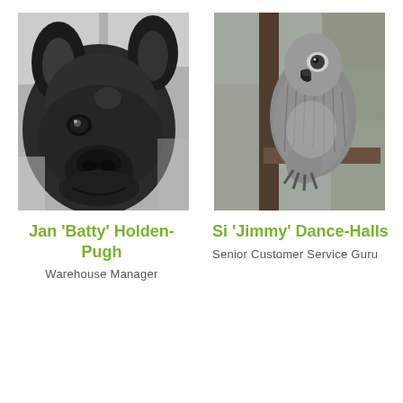[Figure (photo): Black and white close-up photo of a French Bulldog puppy looking at the camera]
[Figure (photo): Black and white photo of a grey African parrot perched on a wooden structure outdoors]
Jan 'Batty' Holden-Pugh
Si 'Jimmy' Dance-Halls
Warehouse Manager
Senior Customer Service Guru